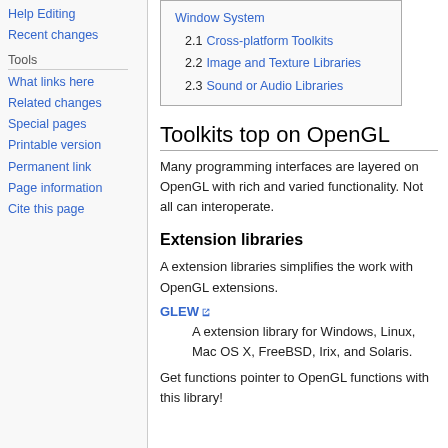Help Editing
Recent changes
Tools
What links here
Related changes
Special pages
Printable version
Permanent link
Page information
Cite this page
| 2.1 Cross-platform Toolkits |
| 2.2 Image and Texture Libraries |
| 2.3 Sound or Audio Libraries |
Toolkits top on OpenGL
Many programming interfaces are layered on OpenGL with rich and varied functionality. Not all can interoperate.
Extension libraries
A extension libraries simplifies the work with OpenGL extensions.
GLEW
A extension library for Windows, Linux, Mac OS X, FreeBSD, Irix, and Solaris.
Get functions pointer to OpenGL functions with this library!